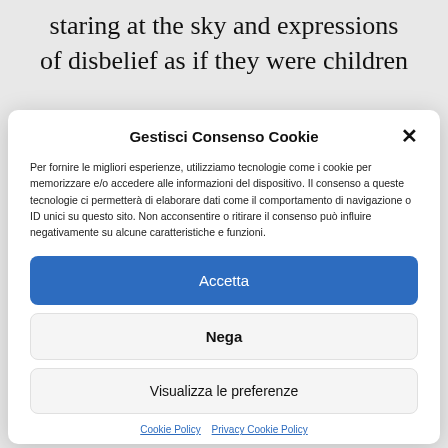staring at the sky and expressions of disbelief as if they were children
Gestisci Consenso Cookie
Per fornire le migliori esperienze, utilizziamo tecnologie come i cookie per memorizzare e/o accedere alle informazioni del dispositivo. Il consenso a queste tecnologie ci permetterà di elaborare dati come il comportamento di navigazione o ID unici su questo sito. Non acconsentire o ritirare il consenso può influire negativamente su alcune caratteristiche e funzioni.
Accetta
Nega
Visualizza le preferenze
Cookie Policy  Privacy Cookie Policy